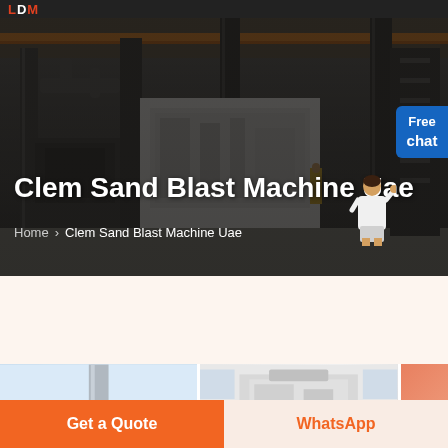LDM
Clem Sand Blast Machine Uae
Home > Clem Sand Blast Machine Uae
[Figure (screenshot): Industrial facility/factory floor hero banner showing large machinery, metal structures, and equipment in a warehouse setting with dim lighting. A female customer service representative figure is shown on the right side.]
[Figure (photo): Product images strip showing sand blast machine equipment photos — light blue-toned machinery photo on left, metal equipment photo in center, orange/red partial image on right]
Get a Quote
WhatsApp